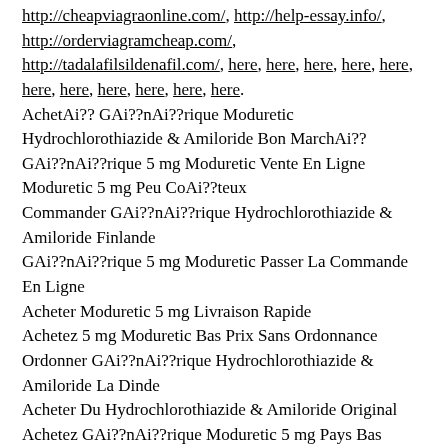http://cheapviagraonline.com/, http://help-essay.info/, http://orderviagramcheap.com/, http://tadalafilsildenafil.com/, here, here, here, here, here, here, here, here, here, here, here.
AchetAi?? GAi??nAi??rique Moduretic Hydrochlorothiazide & Amiloride Bon MarchAi??
GAi??nAi??rique 5 mg Moduretic Vente En Ligne
Moduretic 5 mg Peu CoAi??teux
Commander GAi??nAi??rique Hydrochlorothiazide & Amiloride Finlande
GAi??nAi??rique 5 mg Moduretic Passer La Commande En Ligne
Acheter Moduretic 5 mg Livraison Rapide
Achetez 5 mg Moduretic Bas Prix Sans Ordonnance
Ordonner GAi??nAi??rique Hydrochlorothiazide & Amiloride La Dinde
Acheter Du Hydrochlorothiazide & Amiloride Original
Achetez GAi??nAi??rique Moduretic 5 mg Pays Bas